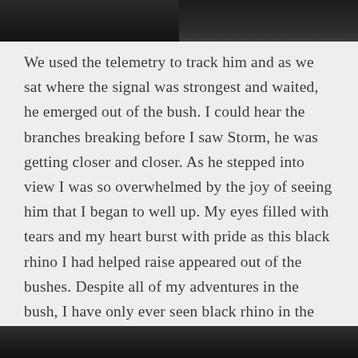[Figure (photo): Dark photograph at the top of the page, split into two panels showing a dimly lit scene]
We used the telemetry to track him and as we sat where the signal was strongest and waited, he emerged out of the bush. I could hear the branches breaking before I saw Storm, he was getting closer and closer. As he stepped into view I was so overwhelmed by the joy of seeing him that I began to well up. My eyes filled with tears and my heart burst with pride as this black rhino I had helped raise appeared out of the bushes. Despite all of my adventures in the bush, I have only ever seen black rhino in the wild twice and one of those was seeing Storm. He looked so well. He had grown a lot since I had last seen him and he seemed to be coping with life in the wild.
[Figure (photo): Dark photograph at the bottom of the page]